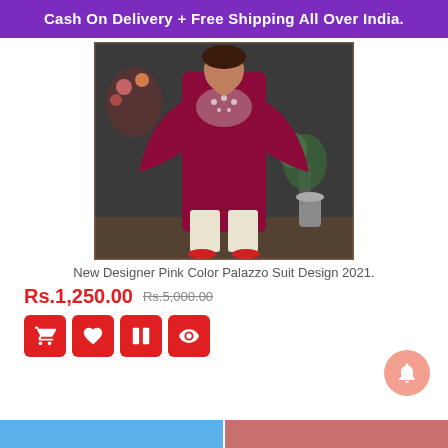Cash On Delivery + Free Shipping All Over India.
[Figure (photo): Woman wearing a maroon designer Palazzo suit with bell sleeves and embroidery on chest, paired with cream palazzo pants and red heels, posing in a decorated room setting.]
New Designer Pink Color Palazzo Suit Design 2021.
Rs.1,250.00  Rs.5,000.00